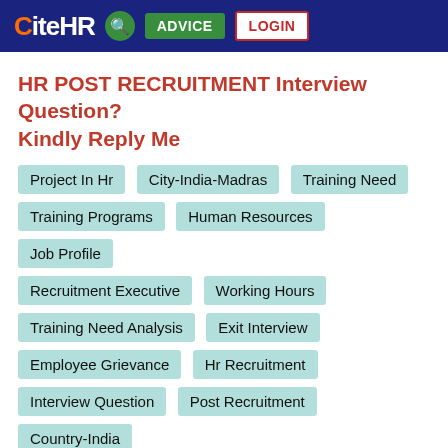CiteHR | ADVICE | LOGIN
HR POST RECRUITMENT Interview Question? Kindly Reply Me
Project In Hr
City-India-Madras
Training Need
Training Programs
Human Resources
Job Profile
Recruitment Executive
Working Hours
Training Need Analysis
Exit Interview
Employee Grievance
Hr Recruitment
Interview Question
Post Recruitment
Country-India
Gayathri.Rajan ★ 7
Dear friends